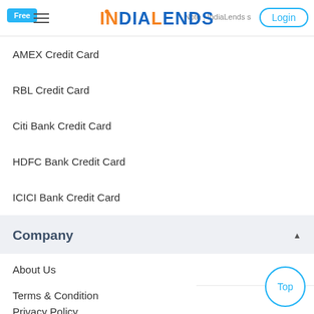Free | INDIALENDS | Note : IndiaLends s... | Login
AMEX Credit Card
RBL Credit Card
Citi Bank Credit Card
HDFC Bank Credit Card
ICICI Bank Credit Card
Company
About Us
Terms & Condition
Privacy Policy
Contact Us